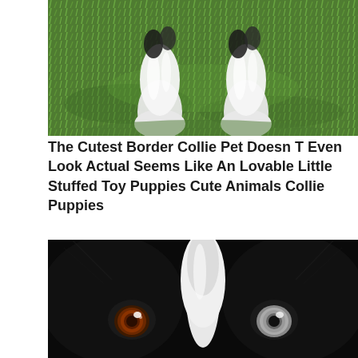[Figure (photo): Close-up photo of white fluffy puppy paws/legs on green grass, likely a Border Collie puppy]
The Cutest Border Collie Pet Doesn T Even Look Actual Seems Like An Lovable Little Stuffed Toy Puppies Cute Animals Collie Puppies
[Figure (photo): Close-up photo of a Border Collie dog face, black and white fur, with intense brown/amber eyes looking directly at camera]